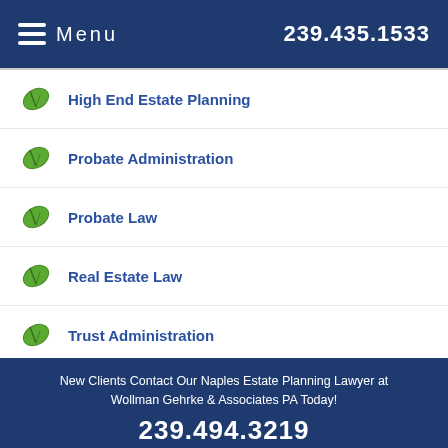Menu  239.435.1533
High End Estate Planning
Probate Administration
Probate Law
Real Estate Law
Trust Administration
Wealth Management
New Clients Contact Our Naples Estate Planning Lawyer at Wollman Gehrke & Associates PA Today!
239.494.3219